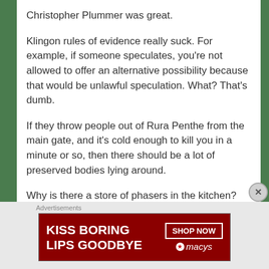Christopher Plummer was great.
Klingon rules of evidence really suck. For example, if someone speculates, you’re not allowed to offer an alternative possibility because that would be unlawful speculation. What? That’s dumb.
If they throw people out of Rura Penthe from the main gate, and it’s cold enough to kill you in a minute or so, then there should be a lot of preserved bodies lying around.
Why is there a store of phasers in the kitchen?
[Figure (other): Advertisement banner: KISS BORING LIPS GOODBYE with SHOP NOW and Macy’s logo]